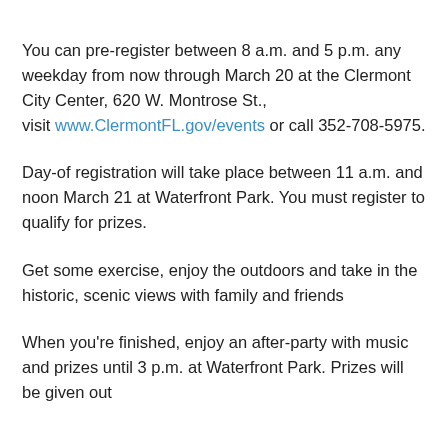You can pre-register between 8 a.m. and 5 p.m. any weekday from now through March 20 at the Clermont City Center, 620 W. Montrose St., visit www.ClermontFL.gov/events or call 352-708-5975.
Day-of registration will take place between 11 a.m. and noon March 21 at Waterfront Park. You must register to qualify for prizes.
Get some exercise, enjoy the outdoors and take in the historic, scenic views with family and friends
When you're finished, enjoy an after-party with music and prizes until 3 p.m. at Waterfront Park. Prizes will be given out